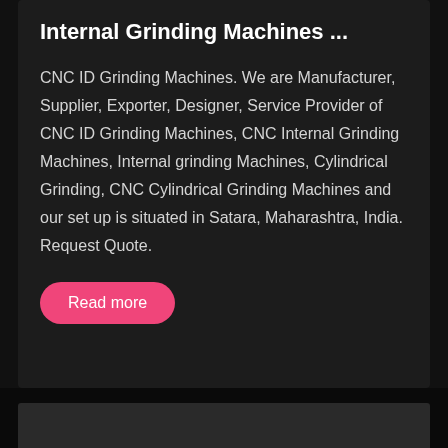Internal Grinding Machines ...
CNC ID Grinding Machines. We are Manufacturer, Supplier, Exporter, Designer, Service Provider of CNC ID Grinding Machines, CNC Internal Grinding Machines, Internal grinding Machines, Cylindrical Grinding, CNC Cylindrical Grinding Machines and our set up is situated in Satara, Maharashtra, India. Request Quote.